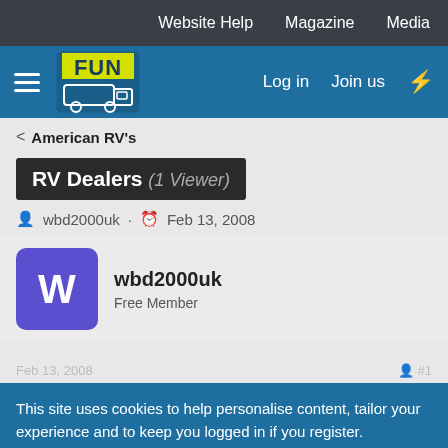Website Help   Magazine   Media
[Figure (logo): Motorhome Fun website logo with yellow FUN text and motorhome illustration on blue background, with hamburger menu, Log in, Join us, and bolt icon navigation]
< American RV's
RV Dealers (1 Viewer)
wbd2000uk · Feb 13, 2008
wbd2000uk
Free Member
Feb 13, 2008
This site uses cookies to help personalise content, tailor your experience and to keep you logged in if you register.
By continuing to use this site, you are consenting to our use of cookies.
✓ Accept
Learn more…